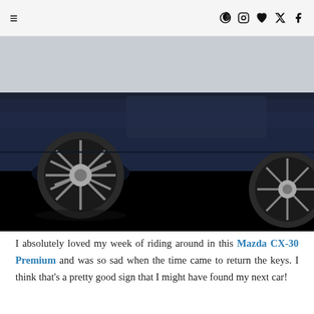≡  ⊕ ⊡ ♥ 𝕥 f
[Figure (photo): Close-up side view of a dark navy blue Mazda CX-30 SUV showing the lower body panel, door sills, alloy wheel with tire, photographed from ground level on a gray pavement surface. Lower portion of the image is a solid black rectangle.]
I absolutely loved my week of riding around in this Mazda CX-30 Premium and was so sad when the time came to return the keys. I think that's a pretty good sign that I might have found my next car!